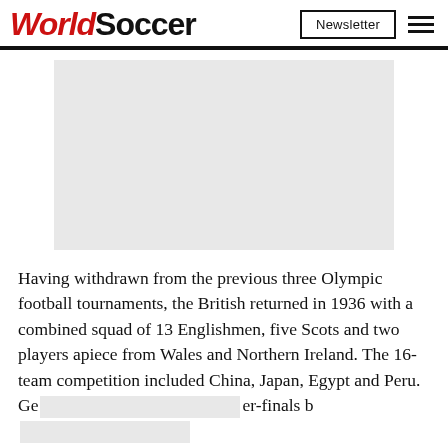WorldSoccer | Newsletter
[Figure (other): Gray advertisement placeholder rectangle]
Having withdrawn from the previous three Olympic football tournaments, the British returned in 1936 with a combined squad of 13 Englishmen, five Scots and two players apiece from Wales and Northern Ireland. The 16-team competition included China, Japan, Egypt and Peru. Ge[ad]er-finals b[ad]